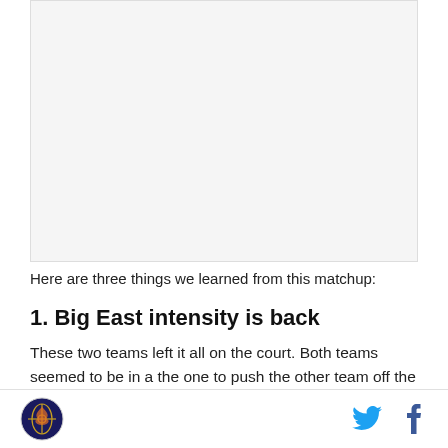[Figure (photo): Image placeholder area at the top of the article]
Here are three things we learned from this matchup:
1. Big East intensity is back
These two teams left it all on the court. Both teams seemed to be in a the one to push the other team off the ball. These teams attacked the rim and did everything they could to thwart the other's attempt to do the same. This ended up being a factor as Villanova maintained the intensity for 40 minutes as opposed to
Logo | Twitter | Facebook